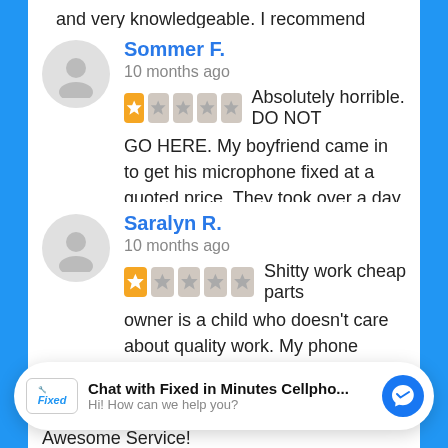and very knowledgeable. I recommend 100%
Sommer F.
10 months ago
★☆☆☆☆ Absolutely horrible. DO NOT GO HERE. My boyfriend came in to get his microphone fixed at a quoted price. They took over a day to "fix" the mic. When he got...
Saralyn R.
10 months ago
★☆☆☆☆ Shitty work cheap parts owner is a child who doesn't care about quality work. My phone screen broke a week after also he
Broke the back of my screen while...
Lincoln D.
Chat with Fixed in Minutes Cellpho...
Hi! How can we help you?
Awesome Service!